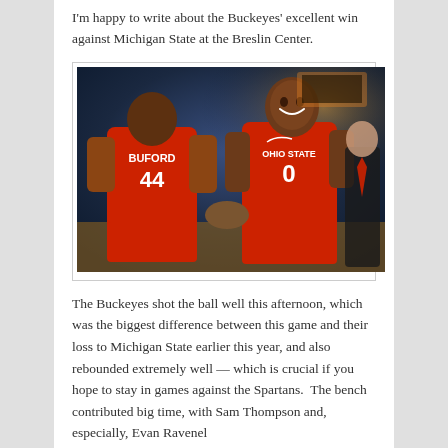I'm happy to write about the Buckeyes' excellent win against Michigan State at the Breslin Center.
[Figure (photo): Two Ohio State basketball players in red uniforms. The player on the left faces away, wearing number 44 with 'BUFORD' on the back. The player on the right, wearing number 0 and 'OHIO STATE' on the front, is smiling and shaking hands with the other player.]
The Buckeyes shot the ball well this afternoon, which was the biggest difference between this game and their loss to Michigan State earlier this year, and also rebounded extremely well — which is crucial if you hope to stay in games against the Spartans.  The bench contributed big time, with Sam Thompson and, especially, Evan Ravenel